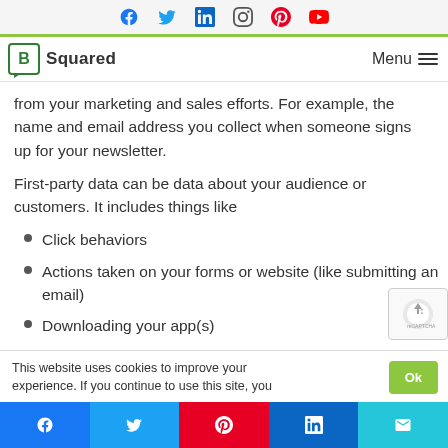B Squared — social media icons: Facebook, Twitter, LinkedIn, Instagram, Pinterest, YouTube | Menu
from your marketing and sales efforts. For example, the name and email address you collect when someone signs up for your newsletter.
First-party data can be data about your audience or customers. It includes things like
Click behaviors
Actions taken on your forms or website (like submitting an email)
Downloading your app(s)
This website uses cookies to improve your experience. If you continue to use this site, you
Share buttons: Facebook, Twitter, Pinterest, LinkedIn, Email